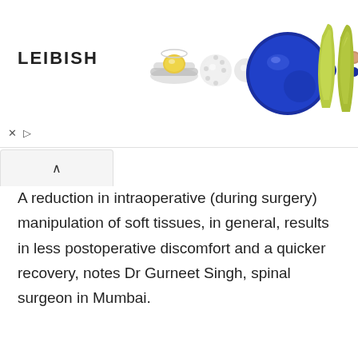[Figure (advertisement): LEIBISH jewelry advertisement banner showing the brand name 'LEIBISH' in bold letters on the left, and several jewelry items including a yellow diamond halo ring, round diamond earrings, a large blue sapphire gemstone, small sapphire earrings, rose gold earrings, and two yellow-green pear-shaped gems on the right side.]
A reduction in intraoperative (during surgery) manipulation of soft tissues, in general, results in less postoperative discomfort and a quicker recovery, notes Dr Gurneet Singh, spinal surgeon in Mumbai.